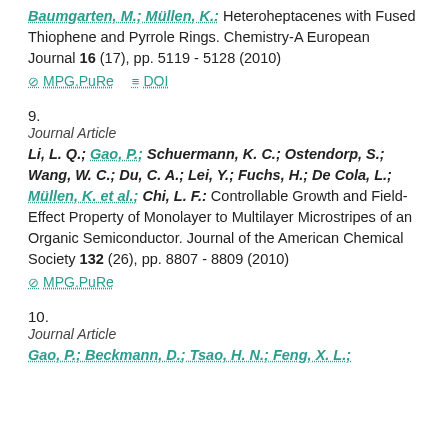Baumgarten, M.; Müllen, K.: Heteroheptacenes with Fused Thiophene and Pyrrole Rings. Chemistry-A European Journal 16 (17), pp. 5119 - 5128 (2010)
MPG.PuRe   DOI
9.
Journal Article
Li, L. Q.; Gao, P.; Schuermann, K. C.; Ostendorp, S.; Wang, W. C.; Du, C. A.; Lei, Y.; Fuchs, H.; De Cola, L.; Müllen, K. et al.; Chi, L. F.: Controllable Growth and Field-Effect Property of Monolayer to Multilayer Microstripes of an Organic Semiconductor. Journal of the American Chemical Society 132 (26), pp. 8807 - 8809 (2010)
MPG.PuRe
10.
Journal Article
Gao, P.; Beckmann, D.; Tsao, H. N.; Feng, X. L.;